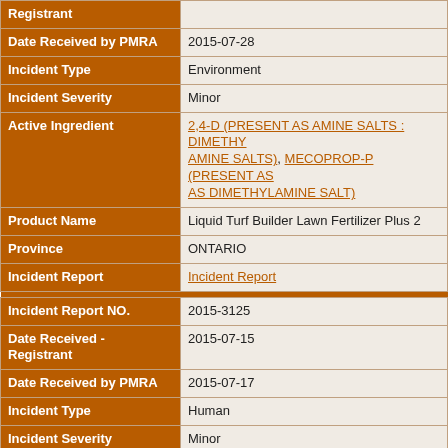| Field | Value |
| --- | --- |
| Registrant |  |
| Date Received by PMRA | 2015-07-28 |
| Incident Type | Environment |
| Incident Severity | Minor |
| Active Ingredient | 2,4-D (PRESENT AS AMINE SALTS : DIMETHYLAMINE SALTS), MECOPROP-P (PRESENT AS DIMETHYLAMINE SALT) |
| Product Name | Liquid Turf Builder Lawn Fertilizer Plus 2 |
| Province | ONTARIO |
| Incident Report | Incident Report |
| — separator — |  |
| Incident Report NO. | 2015-3125 |
| Date Received - Registrant | 2015-07-15 |
| Date Received by PMRA | 2015-07-17 |
| Incident Type | Human |
| Incident Severity | Minor |
| Active Ingredient | 2,4-D (PRESENT AS AMINE SALTS : DIMETHYLAMINE SALTS), MECOPROP-P (PRESENT AS ACID, ESTER, SALTS) |
| Product Name | PAR III TURF HERBICIDE |
| Province | CANADA |
| Incident Report | Incident Report |
| — separator — |  |
| Incident Report NO. | 2015-3124 |
| Date Received - | 2015-07-15 |